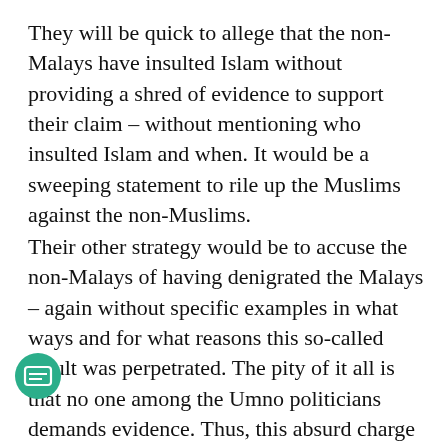They will be quick to allege that the non-Malays have insulted Islam without providing a shred of evidence to support their claim – without mentioning who insulted Islam and when. It would be a sweeping statement to rile up the Muslims against the non-Muslims.
Their other strategy would be to accuse the non-Malays of having denigrated the Malays – again without specific examples in what ways and for what reasons this so-called insult was perpetrated. The pity of it all is that no one among the Umno politicians demands evidence. Thus, this absurd charge inflames the unthinking extremists into actions that pose a grave danger to the peace and harmony of the nation.